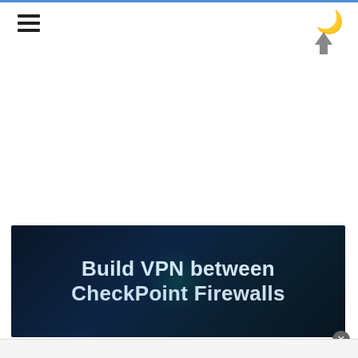[Figure (screenshot): Mobile browser interface screenshot showing a hamburger menu icon top-left, a crescent moon icon top-right, an up arrow icon, a large advertisement banner reading 'Build VPN between CheckPoint Firewalls' on a dark blue background, and a close button]
[Figure (other): Advertisement banner with dark blue/navy gradient background showing text 'Build VPN between CheckPoint Firewalls' in large white/light blue bold font]